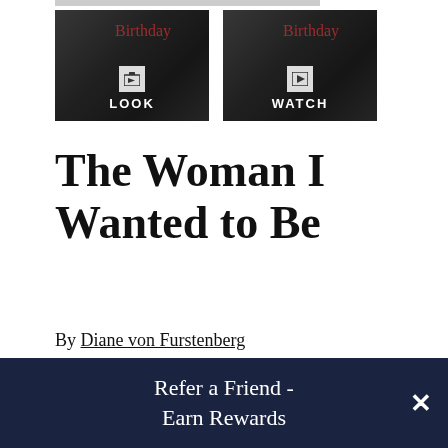[Figure (screenshot): Two thumbnail images side by side. Left thumbnail shows a book cover image with a camera/photo icon and the label LOOK. Right thumbnail shows the same book cover with a video play icon and the label WATCH. Both have dark overlay backgrounds with cursive text visible.]
The Woman I Wanted to Be
By Diane von Furstenberg
Trade Paperback
LIST PRICE $17.00
Refer a Friend - Earn Rewards